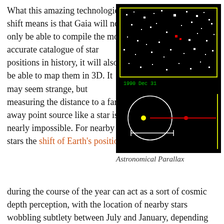What this amazing technological shift means is that Gaia will not only be able to compile the most accurate catalogue of star positions in history, it will also be able to map them in 3D. It may seem strange, but measuring the distance to a far-away point source like a star is nearly impossible. For nearby stars the shift of Earth's position during the course of the year can act as a sort of cosmic depth perception, with the location of nearby stars wobbling subtlety between July and January, depending on how far away they are. It is this Parallax effect that, thanks to the incredible resolution of Gaia, will enable the
[Figure (photo): Two-panel astronomical image on black background. Top panel: star field with a yellow-green border rectangle and a red dot among white star points. Date label '1990 Dec 31' in green text. Bottom panel: diagram showing a circle with a yellow dot at center-left, a red horizontal line extending right with a red dot on it, a white horizontal double-headed arrow beneath, and a vertical yellow line at the right edge.]
Astronomical Parallax